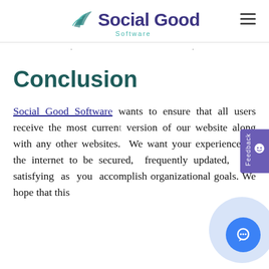Social Good Software
Conclusion
Social Good Software wants to ensure that all users receive the most current version of our website along with any other websites. We want your experience on the internet to be secured, frequently updated, and satisfying as you accomplish organizational goals. We hope that this